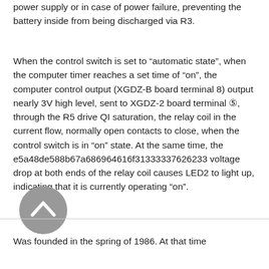power supply or in case of power failure, preventing the battery inside from being discharged via R3.
When the control switch is set to “automatic state”, when the computer timer reaches a set time of “on”, the computer control output (XGDZ-B board terminal 8) output nearly 3V high level, sent to XGDZ-2 board terminal ⑤, through the R5 drive QI saturation, the relay coil in the current flow, normally open contacts to close, when the control switch is in “on” state. At the same time, the e5a48de588b67a686964616f31333337626233 voltage drop at both ends of the relay coil causes LED2 to light up, indicating that it is currently operating “on”.
[Figure (other): Circular scroll-up button (chevron icon) with gray background, positioned above a horizontal divider line]
Was founded in the spring of 1986. At that time